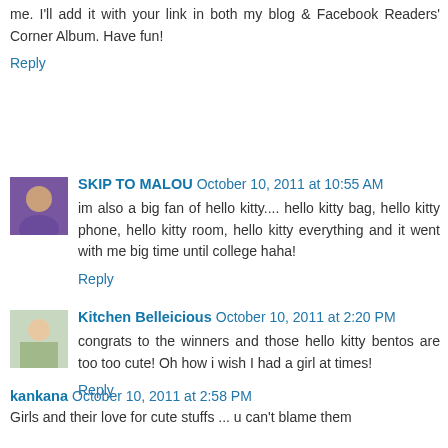me. I'll add it with your link in both my blog & Facebook Readers' Corner Album. Have fun!
Reply
SKIP TO MALOU  October 10, 2011 at 10:55 AM
im also a big fan of hello kitty.... hello kitty bag, hello kitty phone, hello kitty room, hello kitty everything and it went with me big time until college haha!
Reply
Kitchen Belleicious  October 10, 2011 at 2:20 PM
congrats to the winners and those hello kitty bentos are too too cute! Oh how i wish I had a girl at times!
Reply
kankana  October 10, 2011 at 2:58 PM
Girls and their love for cute stuffs ... u can't blame them